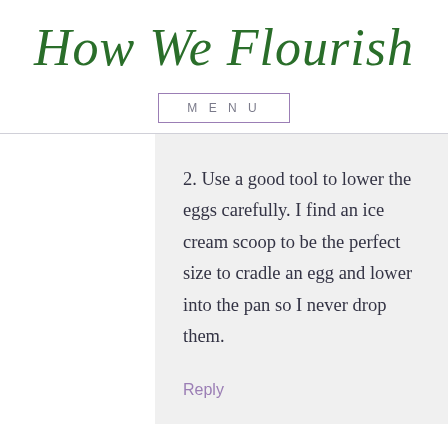How We Flourish
MENU
2. Use a good tool to lower the eggs carefully. I find an ice cream scoop to be the perfect size to cradle an egg and lower into the pan so I never drop them.
Reply